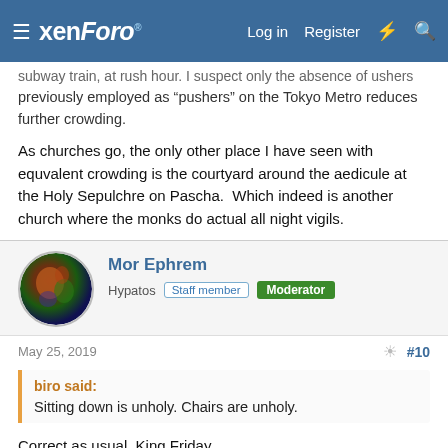xenForo | Log in | Register
subway train, at rush hour. I suspect only the absence of ushers previously employed as “pushers” on the Tokyo Metro reduces further crowding.
As churches go, the only other place I have seen with equvalent crowding is the courtyard around the aedicule at the Holy Sepulchre on Pascha.  Which indeed is another church where the monks do actual all night vigils.
Mor Ephrem
Hypatos  Staff member  Moderator
May 25, 2019  #10
biro said:
Sitting down is unholy. Chairs are unholy.
Correct as usual, King Friday.